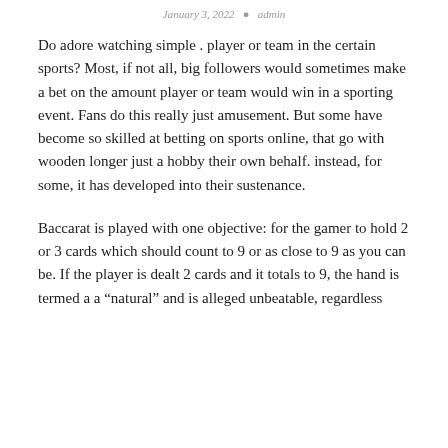January 3, 2022   admin
Do adore watching simple . player or team in the certain sports? Most, if not all, big followers would sometimes make a bet on the amount player or team would win in a sporting event. Fans do this really just amusement. But some have become so skilled at betting on sports online, that go with wooden longer just a hobby their own behalf. instead, for some, it has developed into their sustenance.
Baccarat is played with one objective: for the gamer to hold 2 or 3 cards which should count to 9 or as close to 9 as you can be. If the player is dealt 2 cards and it totals to 9, the hand is termed a a "natural" and is alleged unbeatable, regardless